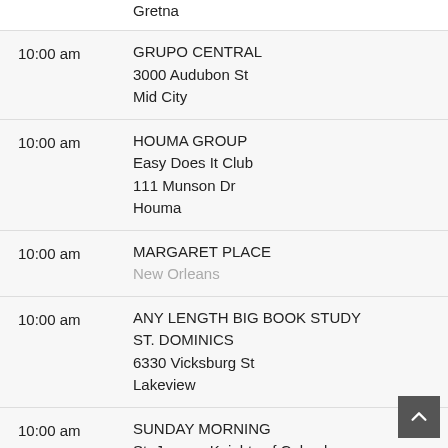Gretna
10:00 am
GRUPO CENTRAL
3000 Audubon St
Mid City
10:00 am
HOUMA GROUP
Easy Does It Club
111 Munson Dr
Houma
10:00 am
MARGARET PLACE
New Orleans
10:00 am
ANY LENGTH BIG BOOK STUDY
ST. DOMINICS
6330 Vicksburg St
Lakeview
10:00 am
SUNDAY MORNING
St. Jerome Knights of Columbus
3310 Florida Ave
Kenner